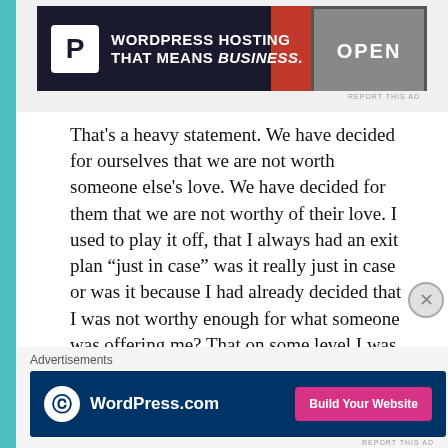[Figure (screenshot): WordPress Hosting advertisement banner at top: dark background with white P logo, text 'WORDPRESS HOSTING THAT MEANS BUSINESS.' and an OPEN sign image on the right.]
That's a heavy statement. We have decided for ourselves that we are not worth someone else's love. We have decided for them that we are not worthy of their love. I used to play it off, that I always had an exit plan "just in case" was it really just in case or was it because I had already decided that I was not worthy enough for what someone was offering me? That on some level I was in reality planning for my own self sabotage and self fulfilling prophecy. My creating the "out" or the "exit plan" it is only a matter of time before history repeats itself again and we spiral down only to feel miserable because we have created our own worse nightmare.
Advertisements
[Figure (screenshot): WordPress.com advertisement banner: dark blue background with WordPress circular logo, WordPress.com text in white, and pink 'Build Your Website' button on the right.]